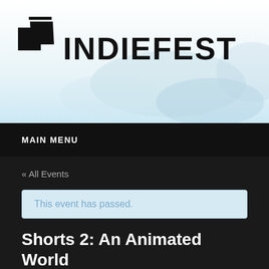[Figure (logo): SF IndieFest logo with geometric icon and bold text INDIEFEST]
MAIN MENU
« All Events
This event has passed.
Shorts 2: An Animated World
February 6, 2018 @ 7:00 pm